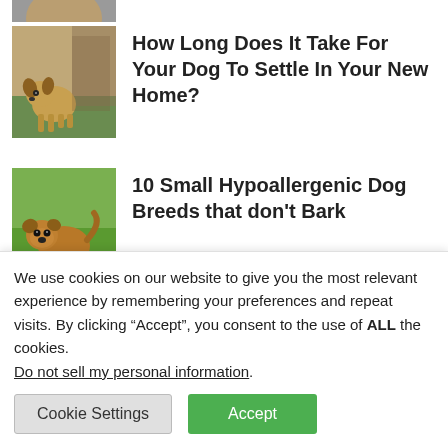[Figure (photo): Partial dog image at top of page, cropped]
How Long Does It Take For Your Dog To Settle In Your New Home?
[Figure (photo): Small fluffy brown dog (Brussels Griffon type) standing on grass]
10 Small Hypoallergenic Dog Breeds that don't Bark
[Figure (photo): Partial dog image at bottom, cropped]
Paw Print Jewelry is the Purr-
We use cookies on our website to give you the most relevant experience by remembering your preferences and repeat visits. By clicking “Accept”, you consent to the use of ALL the cookies.
Do not sell my personal information.
Cookie Settings
Accept